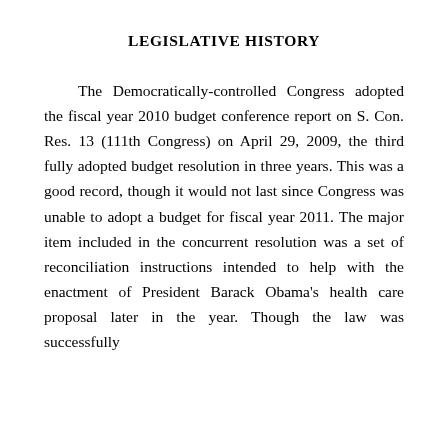LEGISLATIVE HISTORY
The Democratically-controlled Congress adopted the fiscal year 2010 budget conference report on S. Con. Res. 13 (111th Congress) on April 29, 2009, the third fully adopted budget resolution in three years. This was a good record, though it would not last since Congress was unable to adopt a budget for fiscal year 2011. The major item included in the concurrent resolution was a set of reconciliation instructions intended to help with the enactment of President Barack Obama's health care proposal later in the year. Though the law was successfully